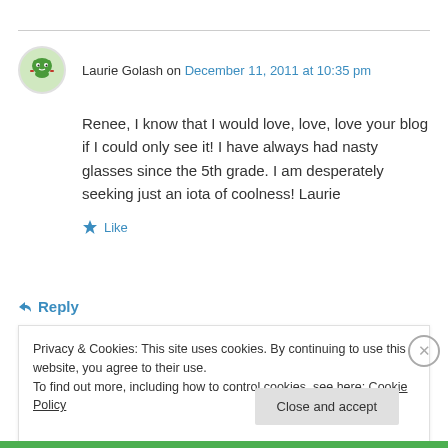Laurie Golash on December 11, 2011 at 10:35 pm
Renee, I know that I would love, love, love your blog if I could only see it! I have always had nasty glasses since the 5th grade. I am desperately seeking just an iota of coolness! Laurie
★ Like
↳ Reply
Privacy & Cookies: This site uses cookies. By continuing to use this website, you agree to their use.
To find out more, including how to control cookies, see here: Cookie Policy
Close and accept